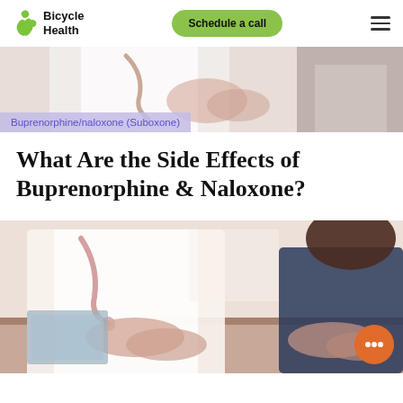Bicycle Health — Schedule a call
[Figure (photo): Cropped photo of a doctor in white coat with hands folded, medical consultation setting]
Buprenorphine/naloxone (Suboxone)
What Are the Side Effects of Buprenorphine & Naloxone?
[Figure (photo): Doctor in white coat with stethoscope sitting across from patient at a desk, both with hands folded, consultation scene]